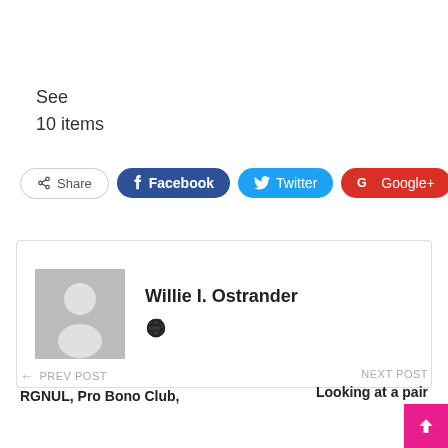See
10 items
[Figure (screenshot): Social share buttons: Share, Facebook, Twitter, Google+, and a plus button]
[Figure (infographic): Author card with placeholder avatar image and name Willie I. Ostrander with a globe icon]
Willie I. Ostrander
← PREV POST
RGNUL, Pro Bono Club,
NEXT POST
Looking at a pair